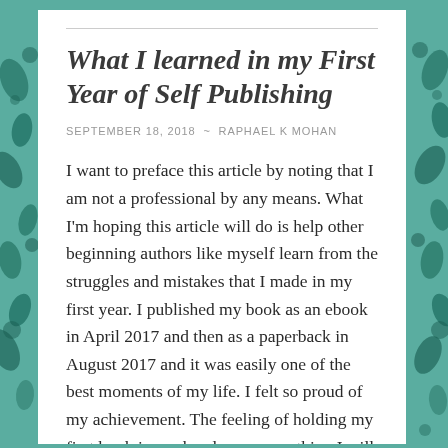What I learned in my First Year of Self Publishing
SEPTEMBER 18, 2018  ~  RAPHAEL K MOHAN
I want to preface this article by noting that I am not a professional by any means. What I'm hoping this article will do is help other beginning authors like myself learn from the struggles and mistakes that I made in my first year. I published my book as an ebook in April 2017 and then as a paperback in August 2017 and it was easily one of the best moments of my life. I felt so proud of my achievement. The feeling of holding my first book in my hands was something I will never forget. Everyone who read the novel enjoyed it and